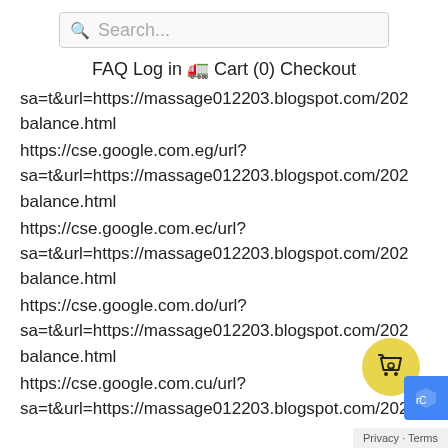Search...
FAQ  Log in  Cart (0)  Checkout
sa=t&url=https://massage012203.blogspot.com/202 balance.html
https://cse.google.com.eg/url?
sa=t&url=https://massage012203.blogspot.com/202 balance.html
https://cse.google.com.ec/url?
sa=t&url=https://massage012203.blogspot.com/202 balance.html
https://cse.google.com.do/url?
sa=t&url=https://massage012203.blogspot.com/202 balance.html
https://cse.google.com.cu/url?
sa=t&url=https://massage012203.blogspot.com/202